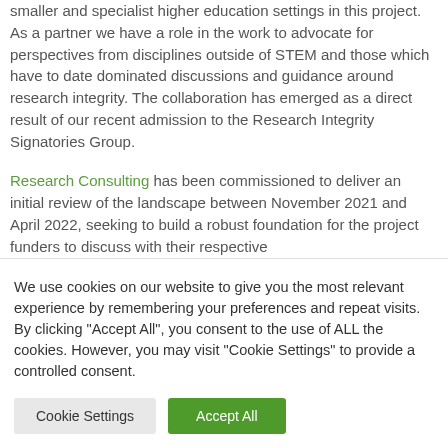smaller and specialist higher education settings in this project. As a partner we have a role in the work to advocate for perspectives from disciplines outside of STEM and those which have to date dominated discussions and guidance around research integrity. The collaboration has emerged as a direct result of our recent admission to the Research Integrity Signatories Group.
Research Consulting has been commissioned to deliver an initial review of the landscape between November 2021 and April 2022, seeking to build a robust foundation for the project funders to discuss with their respective
We use cookies on our website to give you the most relevant experience by remembering your preferences and repeat visits. By clicking "Accept All", you consent to the use of ALL the cookies. However, you may visit "Cookie Settings" to provide a controlled consent.